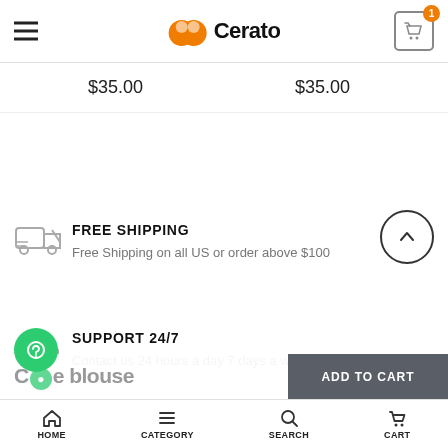Cerato — navigation header with hamburger menu and cart (1 item)
$35.00  $35.00
[Figure (illustration): Scroll-to-top circle button with upward chevron]
[Figure (illustration): Truck delivery icon (free shipping)]
FREE SHIPPING
Free Shipping on all US or order above $100
[Figure (illustration): Headphones icon (support 24/7)]
SUPPORT 24/7
Contact us 24 hours a day 7 days a week
Cre blouse
ADD TO CART
HOME  CATEGORY  SEARCH  CART